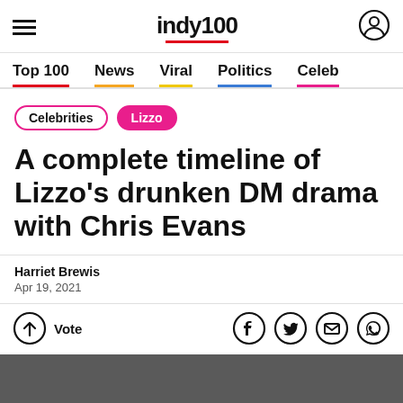indy100
Top 100 | News | Viral | Politics | Celeb
Celebrities
Lizzo
A complete timeline of Lizzo's drunken DM drama with Chris Evans
Harriet Brewis
Apr 19, 2021